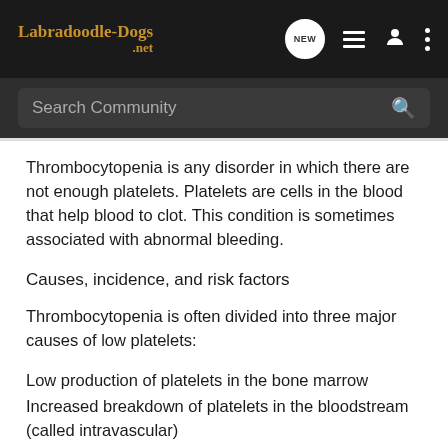Labradoodle-Dogs.net
Search Community
Thrombocytopenia is any disorder in which there are not enough platelets. Platelets are cells in the blood that help blood to clot. This condition is sometimes associated with abnormal bleeding.
Causes, incidence, and risk factors
Thrombocytopenia is often divided into three major causes of low platelets:
Low production of platelets in the bone marrow
Increased breakdown of platelets in the bloodstream (called intravascular)
Increased breakdown of platelets in the spleen or liver (called